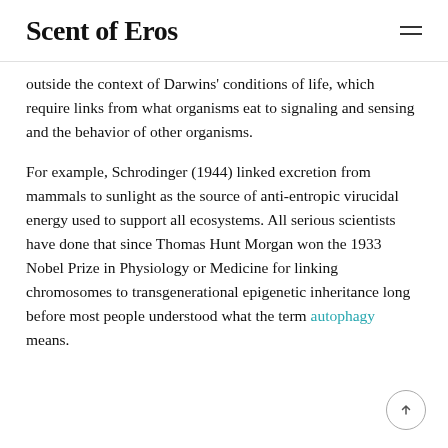Scent of Eros
outside the context of Darwins' conditions of life, which require links from what organisms eat to signaling and sensing and the behavior of other organisms.
For example, Schrodinger (1944) linked excretion from mammals to sunlight as the source of anti-entropic virucidal energy used to support all ecosystems. All serious scientists have done that since Thomas Hunt Morgan won the 1933 Nobel Prize in Physiology or Medicine for linking chromosomes to transgenerational epigenetic inheritance long before most people understood what the term autophagy means.